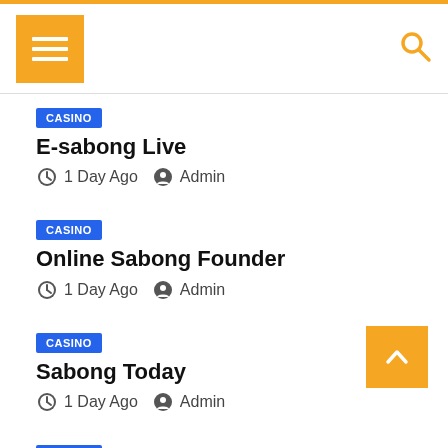Menu / Search header bar
CASINO | E-sabong Live | 1 Day Ago | Admin
CASINO | Online Sabong Founder | 1 Day Ago | Admin
CASINO | Sabong Today | 1 Day Ago | Admin
CASINO | Bakbakan Na Sabong | 1 Day Ago | Admin